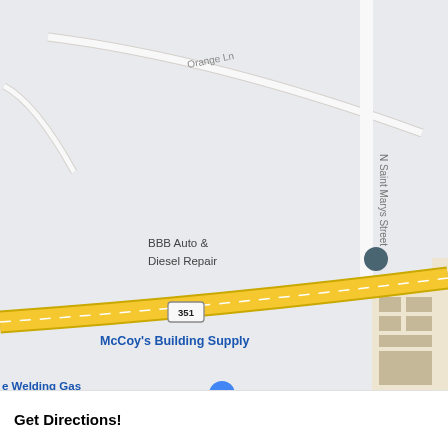[Figure (map): Google Maps screenshot showing an area with streets including N Saint Marys Street, N Madison Ave, Orange Ln, and Route 351. Businesses labeled include Zimmer Floral & N, Bible Baptist Church, NavyArmy Community Credit Union, BBB Auto & Diesel Repair, McCoy's Building Supply, e Welding Gas ipmment Center, Chili's Grill & Bar, McDonald's, Burger King, Roma's Italian. Route markers 351 and BUS 181 visible.]
Get Directions!